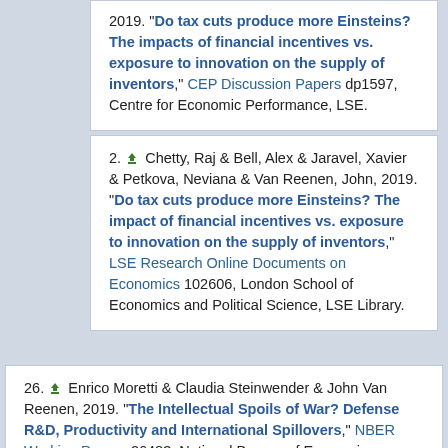2019. "Do tax cuts produce more Einsteins? The impacts of financial incentives vs. exposure to innovation on the supply of inventors," CEP Discussion Papers dp1597, Centre for Economic Performance, LSE.
2. Chetty, Raj & Bell, Alex & Jaravel, Xavier & Petkova, Neviana & Van Reenen, John, 2019. "Do tax cuts produce more Einsteins? The impact of financial incentives vs. exposure to innovation on the supply of inventors," LSE Research Online Documents on Economics 102606, London School of Economics and Political Science, LSE Library.
26. Enrico Moretti & Claudia Steinwender & John Van Reenen, 2019. "The Intellectual Spoils of War? Defense R&D, Productivity and International Spillovers," NBER Working Papers 26483, National Bureau of Economic Research, Inc.